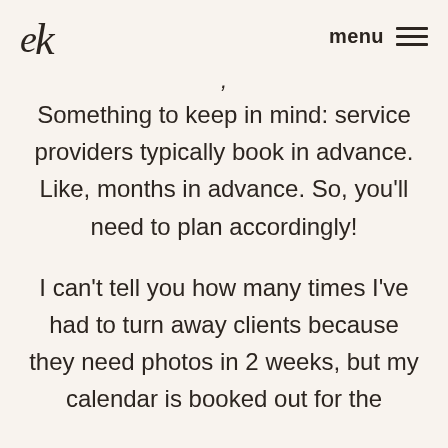ek  menu
Something to keep in mind: service providers typically book in advance. Like, months in advance. So, you'll need to plan accordingly!
I can't tell you how many times I've had to turn away clients because they need photos in 2 weeks, but my calendar is booked out for the